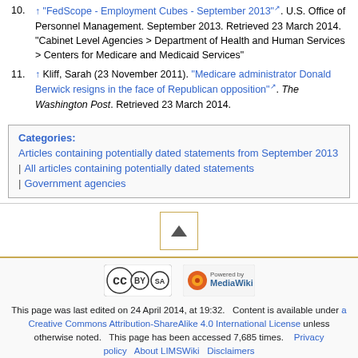10. ↑ "FedScope - Employment Cubes - September 2013". U.S. Office of Personnel Management. September 2013. Retrieved 23 March 2014. "Cabinet Level Agencies > Department of Health and Human Services > Centers for Medicare and Medicaid Services"
11. ↑ Kliff, Sarah (23 November 2011). "Medicare administrator Donald Berwick resigns in the face of Republican opposition". The Washington Post. Retrieved 23 March 2014.
Categories: Articles containing potentially dated statements from September 2013 | All articles containing potentially dated statements | Government agencies
[Figure (other): Scroll to top button with upward triangle arrow, bordered in gold]
[Figure (logo): Creative Commons BY-SA license logo]
[Figure (logo): Powered by MediaWiki logo]
This page was last edited on 24 April 2014, at 19:32. Content is available under a Creative Commons Attribution-ShareAlike 4.0 International License unless otherwise noted. This page has been accessed 7,685 times. Privacy policy About LIMSWiki Disclaimers